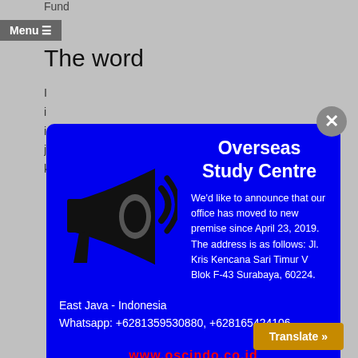Fund
Menu ☰
The word
[Figure (screenshot): Modal popup for Overseas Study Centre on a blue background with megaphone icon. Contains announcement text about office move, address, WhatsApp numbers, and website URL. Grey close button in top right corner.]
working with and emergencies that are resolving cash. Hence, you ought to в†¦
Exactly What can I do whenever a raise